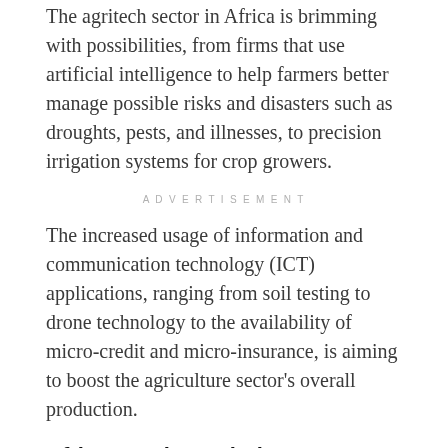The agritech sector in Africa is brimming with possibilities, from firms that use artificial intelligence to help farmers better manage possible risks and disasters such as droughts, pests, and illnesses, to precision irrigation systems for crop growers.
ADVERTISEMENT
The increased usage of information and communication technology (ICT) applications, ranging from soil testing to drone technology to the availability of micro-credit and micro-insurance, is aiming to boost the agriculture sector's overall production.
Africa's tech revolution
The Tony Blair Institute for Global Change